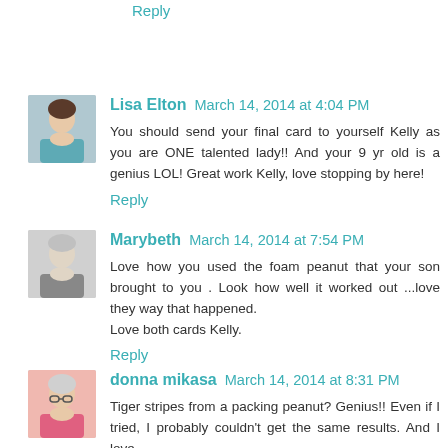Reply
Lisa Elton   March 14, 2014 at 4:04 PM
You should send your final card to yourself Kelly as you are ONE talented lady!! And your 9 yr old is a genius LOL! Great work Kelly, love stopping by here!
Reply
Marybeth   March 14, 2014 at 7:54 PM
Love how you used the foam peanut that your son brought to you . Look how well it worked out ...love they way that happened.
Love both cards Kelly.
Reply
donna mikasa   March 14, 2014 at 8:31 PM
Tiger stripes from a packing peanut? Genius!! Even if I tried, I probably couldn't get the same results. And I love